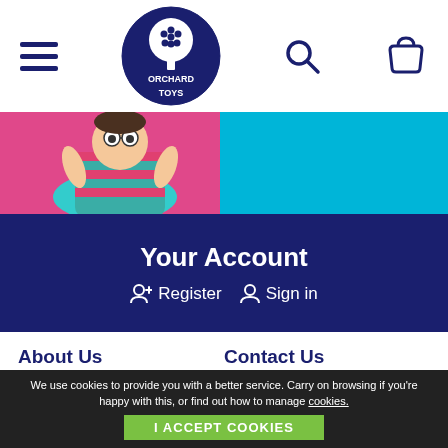Orchard Toys - navigation header with hamburger menu, logo, search and basket icons
[Figure (illustration): Banner with pink background on the left showing a cartoon character in striped top and cyan/light blue background on the right]
Your Account
Register   Sign in
About Us
About Us
Learning Made Fun!
Educational Benefits
Why Orchard Toys?
Contact Us
Contact Us
Catalogue Requests
My orders
Delivery Information
We use cookies to provide you with a better service. Carry on browsing if you're happy with this, or find out how to manage cookies.
I ACCEPT COOKIES